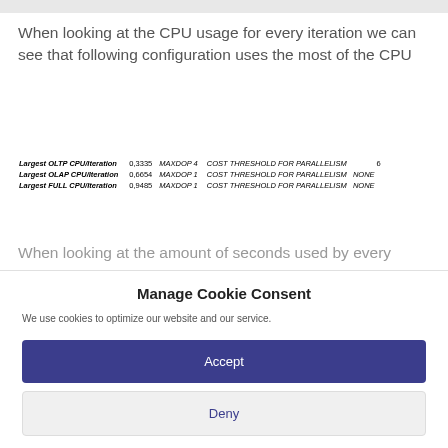When looking at the CPU usage for every iteration we can see that following configuration uses the most of the CPU
|  |  |  |  |  |
| --- | --- | --- | --- | --- |
| Largest OLTP CPU/Iteration | 0,3335 | MAXDOP 4 | COST THRESHOLD FOR PARALLELISM | 6 |
| Largest OLAP CPU/Iteration | 0,6654 | MAXDOP 1 | COST THRESHOLD FOR PARALLELISM   NONE |  |
| Largest FULL CPU/Iteration | 0,9485 | MAXDOP 1 | COST THRESHOLD FOR PARALLELISM   NONE |  |
When looking at the amount of seconds used by every
Manage Cookie Consent
We use cookies to optimize our website and our service.
Accept
Deny